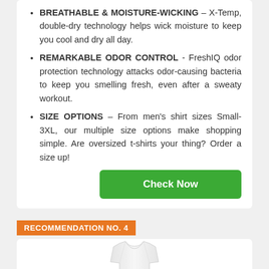BREATHABLE & MOISTURE-WICKING – X-Temp, double-dry technology helps wick moisture to keep you cool and dry all day.
REMARKABLE ODOR CONTROL - FreshIQ odor protection technology attacks odor-causing bacteria to keep you smelling fresh, even after a sweaty workout.
SIZE OPTIONS – From men's shirt sizes Small-3XL, our multiple size options make shopping simple. Are oversized t-shirts your thing? Order a size up!
Check Now
RECOMMENDATION NO. 4
[Figure (photo): White sleeveless t-shirt / tank top displayed on a light background]